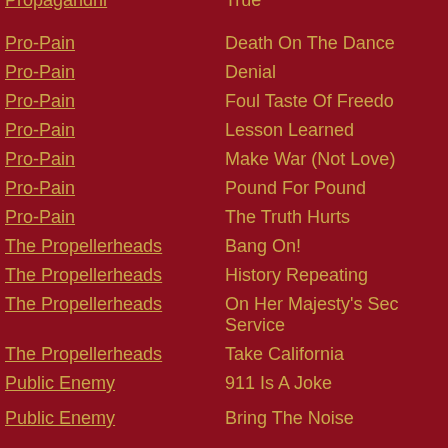Propagandhi | True
Pro-Pain | Death On The Dance
Pro-Pain | Denial
Pro-Pain | Foul Taste Of Freedom
Pro-Pain | Lesson Learned
Pro-Pain | Make War (Not Love)
Pro-Pain | Pound For Pound
Pro-Pain | The Truth Hurts
The Propellerheads | Bang On!
The Propellerheads | History Repeating
The Propellerheads | On Her Majesty's Secret Service
The Propellerheads | Take California
Public Enemy | 911 Is A Joke
Public Enemy | Bring The Noise
Public Enemy | Don't Believe The Hype
Public Enemy | Fight The Power
Public Enemy | Give It Up